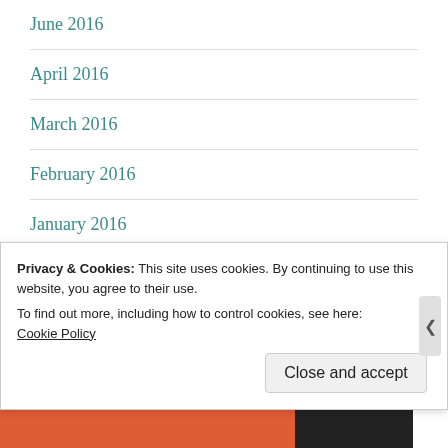June 2016
April 2016
March 2016
February 2016
January 2016
Categories
Privacy & Cookies: This site uses cookies. By continuing to use this website, you agree to their use.
To find out more, including how to control cookies, see here:
Cookie Policy
Close and accept